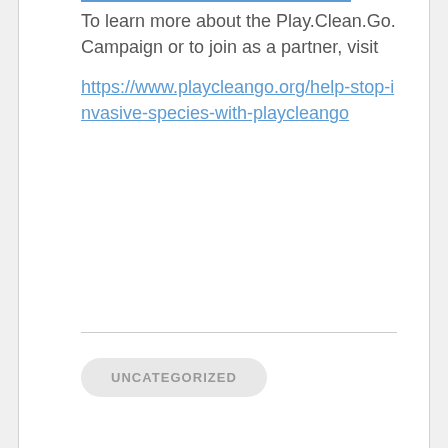To learn more about the Play.Clean.Go. Campaign or to join as a partner, visit https://www.playcleango.org/help-stop-invasive-species-with-playcleango
UNCATEGORIZED